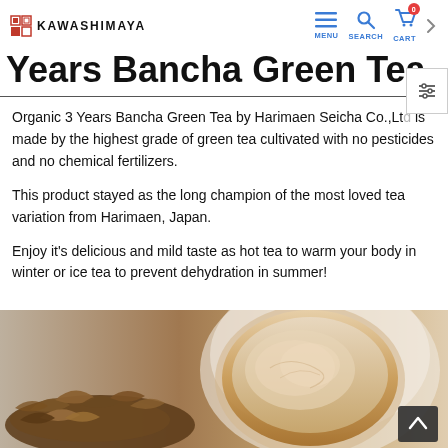KAWASHIMAYA — navigation bar with MENU, SEARCH, CART (0)
Years Bancha Green Tea
Organic 3 Years Bancha Green Tea by Harimaen Seicha Co.,Ltd is made by the highest grade of green tea cultivated with no pesticides and no chemical fertilizers.
This product stayed as the long champion of the most loved tea variation from Harimaen, Japan.
Enjoy it's delicious and mild taste as hot tea to warm your body in winter or ice tea to prevent dehydration in summer!
[Figure (photo): Photo showing dried tea leaves on the left and a cup of brewed tea on the right, warm brown tones.]